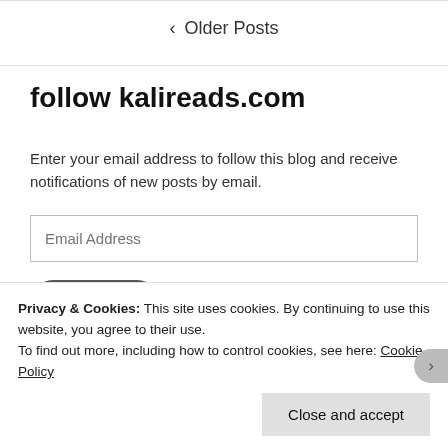< Older Posts
follow kalireads.com
Enter your email address to follow this blog and receive notifications of new posts by email.
Email Address
Follow
Join 974 other followers
Privacy & Cookies: This site uses cookies. By continuing to use this website, you agree to their use. To find out more, including how to control cookies, see here: Cookie Policy
Close and accept